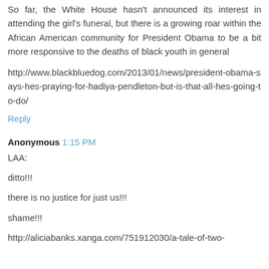So far, the White House hasn't announced its interest in attending the girl's funeral, but there is a growing roar within the African American community for President Obama to be a bit more responsive to the deaths of black youth in general
http://www.blackbluedog.com/2013/01/news/president-obama-says-hes-praying-for-hadiya-pendleton-but-is-that-all-hes-going-to-do/
Reply
Anonymous  1:15 PM
LAA:
ditto!!!
there is no justice for just us!!!
shame!!!
http://aliciabanks.xanga.com/751912030/a-tale-of-two-